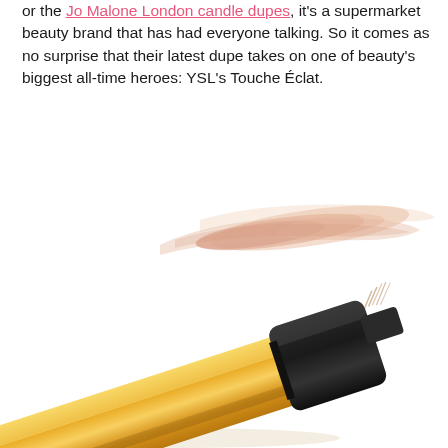or the Jo Malone London candle dupes, it's a supermarket beauty brand that has had everyone talking. So it comes as no surprise that their latest dupe takes on one of beauty's biggest all-time heroes: YSL's Touche Éclat.
[Figure (photo): A gold-barreled beauty pen/highlighter with a black cap and brush tip, shown diagonally with a peach/beige swatch smear above it on a white background.]